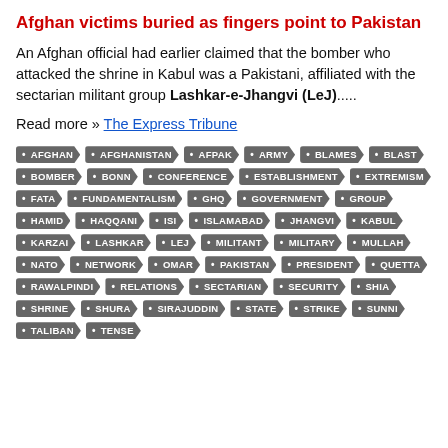Afghan victims buried as fingers point to Pakistan
An Afghan official had earlier claimed that the bomber who attacked the shrine in Kabul was a Pakistani, affiliated with the sectarian militant group Lashkar-e-Jhangvi (LeJ).....
Read more » The Express Tribune
AFGHAN
AFGHANISTAN
AFPAK
ARMY
BLAMES
BLAST
BOMBER
BONN
CONFERENCE
ESTABLISHMENT
EXTREMISM
FATA
FUNDAMENTALISM
GHQ
GOVERNMENT
GROUP
HAMID
HAQQANI
ISI
ISLAMABAD
JHANGVI
KABUL
KARZAI
LASHKAR
LEJ
MILITANT
MILITARY
MULLAH
NATO
NETWORK
OMAR
PAKISTAN
PRESIDENT
QUETTA
RAWALPINDI
RELATIONS
SECTARIAN
SECURITY
SHIA
SHRINE
SHURA
SIRAJUDDIN
STATE
STRIKE
SUNNI
TALIBAN
TENSE